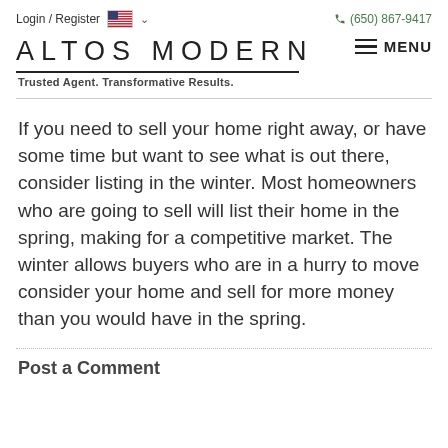Login / Register  🇺🇸 ∨    (650) 867-9417
ALTOS MODERN
Trusted Agent. Transformative Results.
If you need to sell your home right away, or have some time but want to see what is out there, consider listing in the winter. Most homeowners who are going to sell will list their home in the spring, making for a competitive market. The winter allows buyers who are in a hurry to move consider your home and sell for more money than you would have in the spring.
Post a Comment